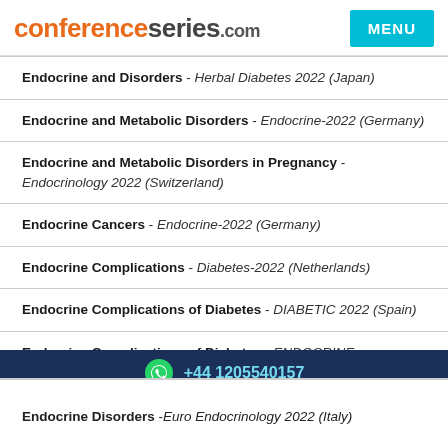conferenceseries.com  MENU
Endocrine and Disorders - Herbal Diabetes 2022 (Japan)
Endocrine and Metabolic Disorders - Endocrine-2022 (Germany)
Endocrine and Metabolic Disorders in Pregnancy - Endocrinology 2022 (Switzerland)
Endocrine Cancers - Endocrine-2022 (Germany)
Endocrine Complications - Diabetes-2022 (Netherlands)
Endocrine Complications of Diabetes - DIABETIC 2022 (Spain)
Endocrine Complications of Diabetes - ENDOCRINE
+44 1205540157
Endocrine Disorders - Euro Endocrinology 2022 (Italy)